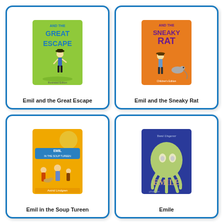[Figure (illustration): Book cover: Emil and the Great Escape - green cover with cartoon boy in hat]
Emil and the Great Escape
[Figure (illustration): Book cover: Emil and the Sneaky Rat - orange cover with cartoon boy and rat]
Emil and the Sneaky Rat
[Figure (illustration): Book cover: Emil in the Soup Tureen - yellow/orange cover with cartoon characters by Astrid Lindgren]
Emil in the Soup Tureen
[Figure (illustration): Book cover: Emile - blue cover with green octopus illustration by Tomi Ungerer, published by Phaidon]
Emile